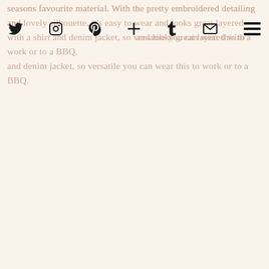seasons favourite material. With the pretty embroidered detailing and lovely silhouette, it's easy to wear and looks great layered with a shirt and denim jacket, so versatile you can wear this to work or to a BBQ.
[Figure (other): Navigation bar with social media icons: Twitter, Instagram, Pinterest, Google Plus, Tumblr, Email, and a hamburger menu icon on the right]